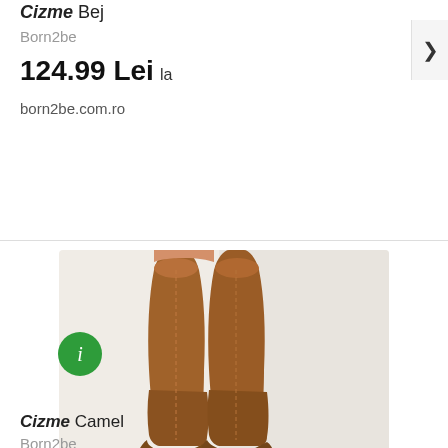Cizme Bej
Born2be
124.99 Lei la
born2be.com.ro
[Figure (photo): Photo of camel suede over-the-knee heeled boots worn on a model leg, against a white background]
Cizme Camel
Born2be